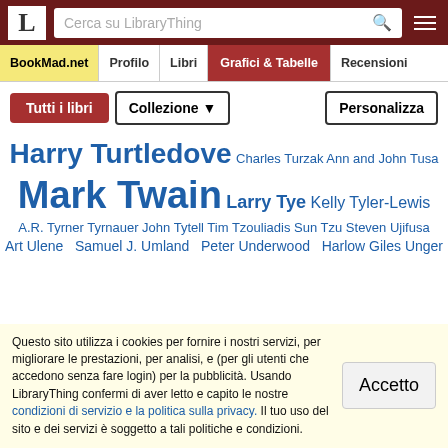LibraryThing - Cerca su LibraryThing
BookMad.net | Profilo | Libri | Grafici & Tabelle | Recensioni
Tutti i libri | Collezione ▼ | Personalizza
Harry Turtledove Charles Turzak Ann and John Tusa Mark Twain Larry Tye Kelly Tyler-Lewis A.R. Tyrner Tyrnauer John Tytell Tim Tzouliadis Sun Tzu Steven Ujifusa Art Ulene Samuel J. Umland Peter Underwood Harlow Giles Unger The Mount Vernon Ladies' Association of the Union Deep Delta Civil War Symposium 1988 Southeastern L Lincoln Symposium (2001 Lincoln Memorial Universit Unknown Unknown Mark K. Updegrove Karina Urbach
Questo sito utilizza i cookies per fornire i nostri servizi, per migliorare le prestazioni, per analisi, e (per gli utenti che accedono senza fare login) per la pubblicità. Usando LibraryThing confermi di aver letto e capito le nostre condizioni di servizio e la politica sulla privacy. Il tuo uso del sito e dei servizi è soggetto a tali politiche e condizioni.